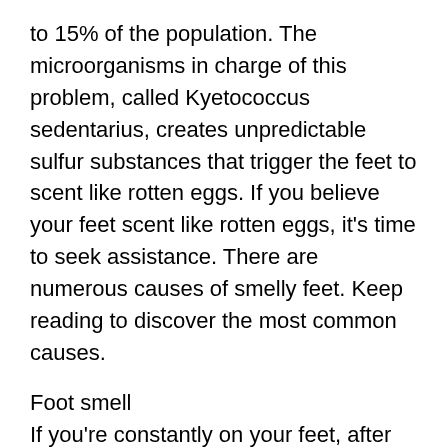to 15% of the population. The microorganisms in charge of this problem, called Kyetococcus sedentarius, creates unpredictable sulfur substances that trigger the feet to scent like rotten eggs. If you believe your feet scent like rotten eggs, it's time to seek assistance. There are numerous causes of smelly feet. Keep reading to discover the most common causes.
Foot smell
If you're constantly on your feet, after that you've likely skilled foot odor at one point or one more. The human foot has over 250,000 sweat glands, as well as these gland are fed by germs that produce waste as by-products. This waste is what triggers foot odor, as well as foot tick more than the one the most f